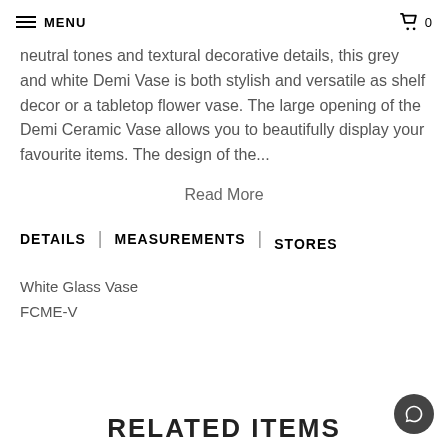MENU | 0
neutral tones and textural decorative details, this grey and white Demi Vase is both stylish and versatile as shelf decor or a tabletop flower vase. The large opening of the Demi Ceramic Vase allows you to beautifully display your favourite items. The design of the...
Read More
DETAILS | MEASUREMENTS | STORES
White Glass Vase
FCME-V
RELATED ITEMS